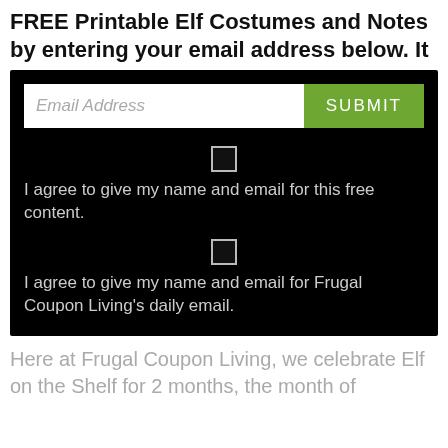FREE Printable Elf Costumes and Notes by entering your email address below. It
[Figure (screenshot): Email signup form on black background with email input field, green SUBMIT button, and two checkbox agreement options for sharing name/email for free content and for Frugal Coupon Living's daily email.]
Here at Frugal Coupon Living, we celebrate Elf on the Shelf for 2 months, the month of